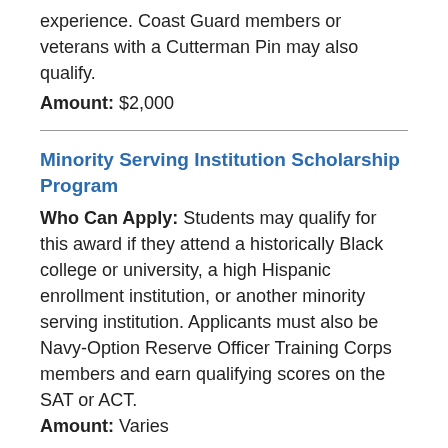experience. Coast Guard members or veterans with a Cutterman Pin may also qualify.
Amount: $2,000
Minority Serving Institution Scholarship Program
Who Can Apply: Students may qualify for this award if they attend a historically Black college or university, a high Hispanic enrollment institution, or another minority serving institution. Applicants must also be Navy-Option Reserve Officer Training Corps members and earn qualifying scores on the SAT or ACT.
Amount: Varies